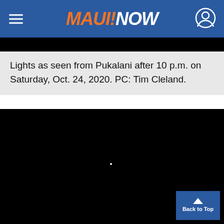MAUI!NOW
Lights as seen from Pukalani after 10 p.m. on Saturday, Oct. 24, 2020. PC: Tim Cleland.
[Figure (photo): Dark/black nighttime photo with a faint small white light dot visible near the lower center of the frame.]